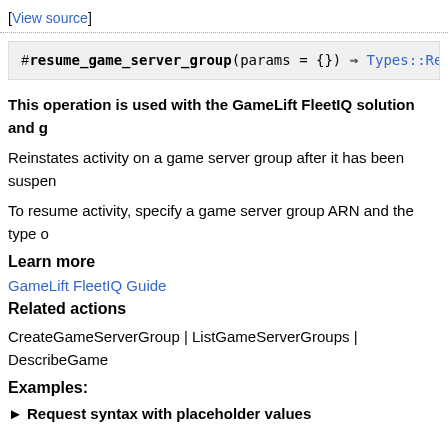[View source]
#resume_game_server_group(params = {}) ⇒ Types::Res
This operation is used with the GameLift FleetIQ solution and g
Reinstates activity on a game server group after it has been suspen
To resume activity, specify a game server group ARN and the type o
Learn more
GameLift FleetIQ Guide
Related actions
CreateGameServerGroup | ListGameServerGroups | DescribeGame
Examples:
► Request syntax with placeholder values